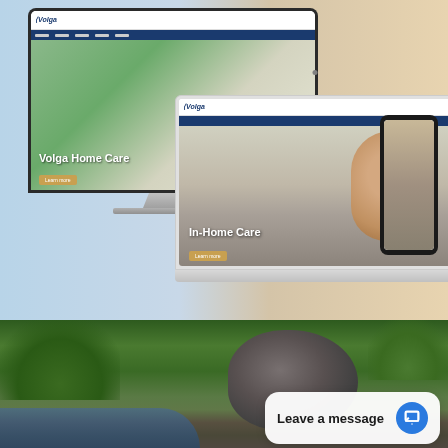[Figure (screenshot): Responsive web design mockup showing the Volga Home Care website displayed on a desktop iMac monitor, a MacBook laptop, and a mobile phone. The desktop screen shows 'Volga Home Care' hero text over a nature background with an elderly person. The laptop shows 'In-Home Care' hero text with an elderly woman smiling. The mobile phone shows a smaller version of the site. Background is a gradient of light blue on the left and beige/tan on the right.]
[Figure (photo): Outdoor garden or landscape photo showing lush green trees and shrubs, a large dark boulder or rock formation, what appears to be a pool or water feature at the bottom left, and cross-shaped garden ornaments visible among the foliage.]
Leave a message